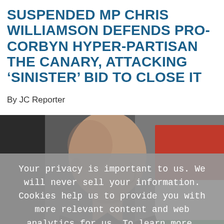SUSPENDED MP CHRIS WILLIAMSON DEFENDS PRO-CORBYN HYPER-PARTISAN THE CANARY, ATTACKING ‘SINISTER’ BID TO CLOSE IT
By JC Reporter
[Figure (photo): Black and white side-profile photograph of a bald man in a dark suit, with red, white, and green banners visible in the background.]
Your privacy is important to us. We will never sell your information. Cookies help us to provide you with more relevant content and web analytics for us. To learn more, please see our privacy policy  Ok